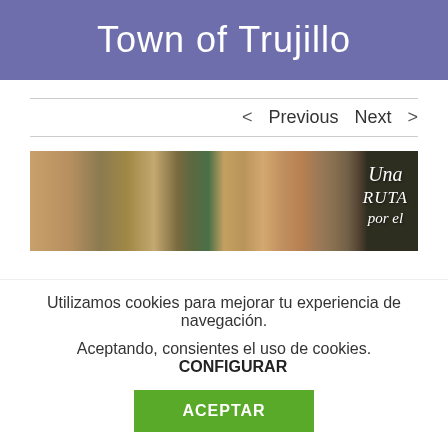Town of Trujillo
< Previous   Next >
[Figure (photo): Aerial satellite view of the Town of Trujillo showing rural landscape with fields and roads. Overlaid text reads 'Una ruta por el' in italic serif font on a dark background on the right side.]
Utilizamos cookies para mejorar tu experiencia de navegación.
Aceptando, consientes el uso de cookies.    CONFIGURAR
ACEPTAR